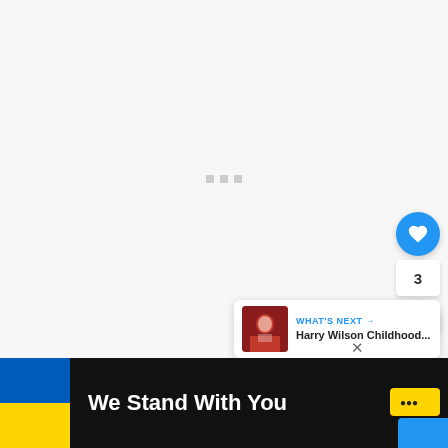[Figure (screenshot): Loading screen with three gray square dots centered on a light gray background]
[Figure (infographic): Heart (like) button in blue circle, count '3', and share button in white circle on right side]
[Figure (infographic): What's Next card showing Harry Wilson Childhood... article with thumbnail]
[Figure (infographic): Bottom banner: Ukraine flag, text 'We Stand With You', close X button, Miro logo, blue rectangle]
3
WHAT'S NEXT →
Harry Wilson Childhood...
We Stand With You